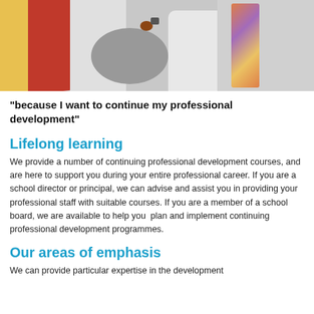[Figure (photo): Colorful modern room with red and yellow chairs, a round table with an apple and binoculars, and a person in colorful clothing on the right side.]
"because I want to continue my professional development"
Lifelong learning
We provide a number of continuing professional development courses, and are here to support you during your entire professional career. If you are a school director or principal, we can advise and assist you in providing your professional staff with suitable courses. If you are a member of a school board, we are available to help you  plan and implement continuing professional development programmes.
Our areas of emphasis
We can provide particular expertise in the development